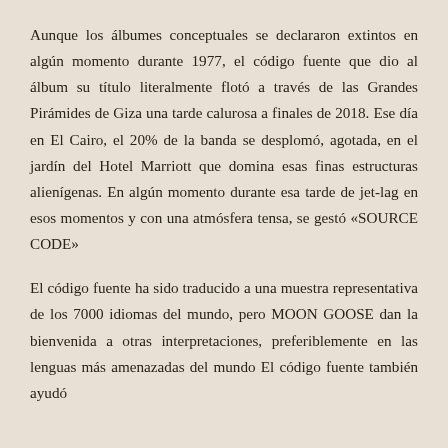Aunque los álbumes conceptuales se declararon extintos en algún momento durante 1977, el código fuente que dio al álbum su título literalmente flotó a través de las Grandes Pirámides de Giza una tarde calurosa a finales de 2018. Ese día en El Cairo, el 20% de la banda se desplomó, agotada, en el jardín del Hotel Marriott que domina esas finas estructuras alienígenas. En algún momento durante esa tarde de jet-lag en esos momentos y con una atmósfera tensa, se gestó «SOURCE CODE»
El código fuente ha sido traducido a una muestra representativa de los 7000 idiomas del mundo, pero MOON GOOSE dan la bienvenida a otras interpretaciones, preferiblemente en las lenguas más amenazadas del mundo El código fuente también ayudó